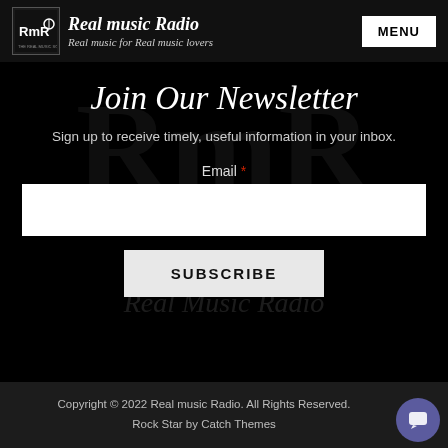Real music Radio — Real music for Real music lovers
Join Our Newsletter
Sign up to receive timely, useful information in your inbox.
Email *
[Figure (screenshot): Email input field (white box)]
SUBSCRIBE
[Figure (illustration): Real Music Radio watermark logo in background]
Copyright © 2022 Real music Radio. All Rights Reserved. Rock Star by Catch Themes